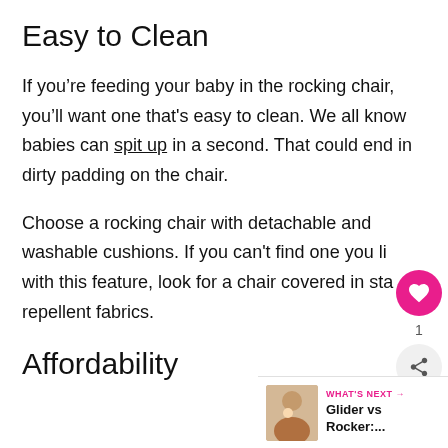Easy to Clean
If you’re feeding your baby in the rocking chair, you’ll want one that’s easy to clean. We all know babies can spit up in a second. That could end in dirty padding on the chair.
Choose a rocking chair with detachable and washable cushions. If you can’t find one you like with this feature, look for a chair covered in stain repellent fabrics.
Affordability